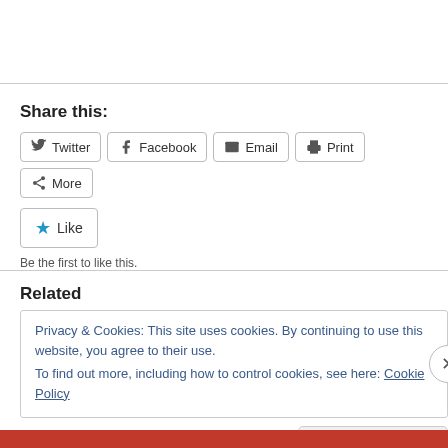Share this:
Twitter  Facebook  Email  Print  More
Like
Be the first to like this.
Related
Privacy & Cookies: This site uses cookies. By continuing to use this website, you agree to their use.
To find out more, including how to control cookies, see here: Cookie Policy
Close and accept